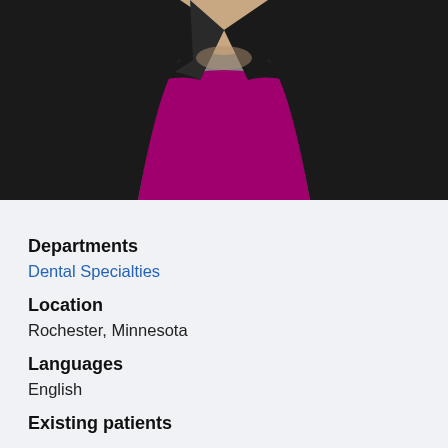[Figure (photo): Professional headshot of a woman wearing a black blazer over a magenta/purple top, photographed against a grey background. Only the torso and lower face/neck area visible.]
Departments
Dental Specialties
Location
Rochester, Minnesota
Languages
English
Existing patients